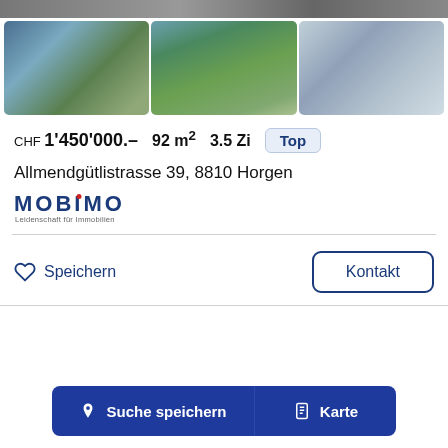[Figure (photo): Top strip showing partial image of property]
[Figure (photo): Three property photos in a row: modern apartment building exterior at dusk, aerial view of residential complex with greenery, interior shot of modern living room]
CHF 1'450'000.– 92 m² 3.5 Zi Top
Allmendgütlistrasse 39, 8810 Horgen
[Figure (logo): MOBIMO logo with red dot on i, tagline: Leidenschaft für Immobilien]
Speichern
Kontakt
Suche speichern
Karte